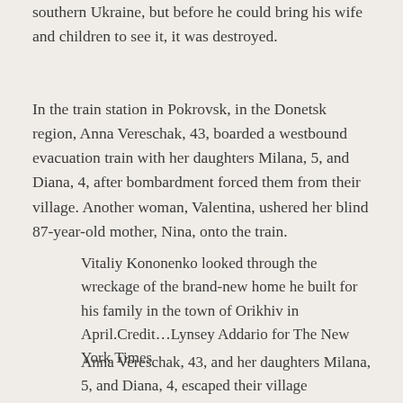southern Ukraine, but before he could bring his wife and children to see it, it was destroyed.
In the train station in Pokrovsk, in the Donetsk region, Anna Vereschak, 43, boarded a westbound evacuation train with her daughters Milana, 5, and Diana, 4, after bombardment forced them from their village. Another woman, Valentina, ushered her blind 87-year-old mother, Nina, onto the train.
Vitaliy Kononenko looked through the wreckage of the brand-new home he built for his family in the town of Orikhiv in April.Credit…Lynsey Addario for The New York Times
Anna Vereschak, 43, and her daughters Milana, 5, and Diana, 4, escaped their village